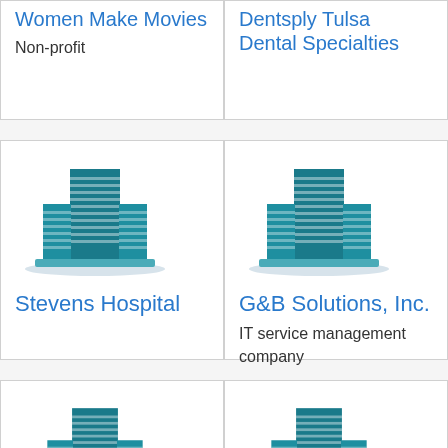Women Make Movies
Non-profit
Dentsply Tulsa Dental Specialties
[Figure (illustration): Building/office icon for Stevens Hospital]
Stevens Hospital
[Figure (illustration): Building/office icon for G&B Solutions, Inc.]
G&B Solutions, Inc.
IT service management company
[Figure (illustration): Building/office icon for Heritage Title Company]
Heritage Title Company
[Figure (illustration): Building/office icon for Indus Technology]
Indus Technology
Company